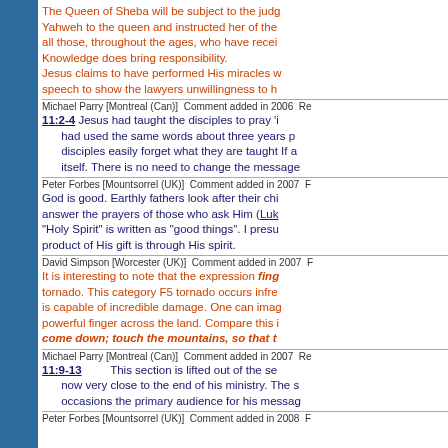The Queen of Sheba will be subject to the judgment. Yahweh to the queen and instructed her of the all those, throughout the ages, who have received Knowledge does bring responsibility. Jesus claims to have performed His miracles w speech to show the lawyers unwillingness to h
Michael Parry [Montreal (Can)] Comment added in 2006 Re 11:2-4 Jesus had taught the disciples to pray 'i had used the same words about three years p disciples easily forget what they are taught If a itself. There is no need to change the message
Peter Forbes [Mountsorrel (UK)] Comment added in 2007 F God is good. Earthly fathers look after their chi answer the prayers of those who ask Him (Luk "Holy Spirit" is written as "good things". I presu product of His gift is through His spirit.
David Simpson [Worcester (UK)] Comment added in 2007 It is interesting to note that the expression fing tornado. This category F5 tornado occurs infre is capable of incredible damage. One can imag powerful finger across the land. Compare this i come down; touch the mountains, so that t
Michael Parry [Montreal (Can)] Comment added in 2007 Re 11:9-13 This section is lifted out of the se now very close to the end of his ministry. The s occasions the primary audience for his messag
Peter Forbes [Mountsorrel (UK)] Comment added in 2008